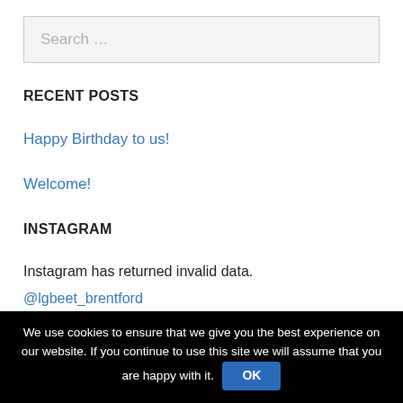Search ...
RECENT POSTS
Happy Birthday to us!
Welcome!
INSTAGRAM
Instagram has returned invalid data. @lgbeet_brentford
Tweets by @LGBt_Bren
We use cookies to ensure that we give you the best experience on our website. If you continue to use this site we will assume that you are happy with it. OK